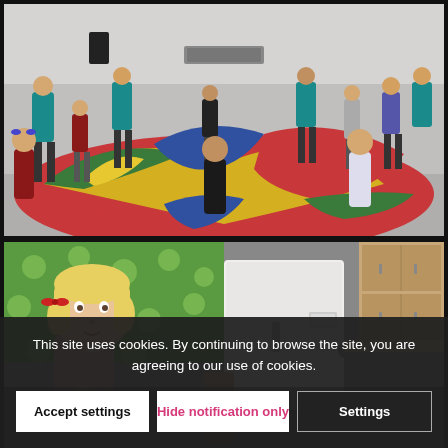[Figure (photo): Children and adult leaders playing with a large colorful parachute in an indoor gymnasium. Adults in teal/blue shirts hold the parachute edges while children run underneath. The parachute has red, yellow, green, and blue sections.]
[Figure (photo): Young blonde girl with pigtails and a red bow, sitting and playing with a toy. Green polka-dot fabric visible in the background. White appliance and wooden cabinets in the background.]
This site uses cookies. By continuing to browse the site, you are agreeing to our use of cookies.
Accept settings
Hide notification only
Settings